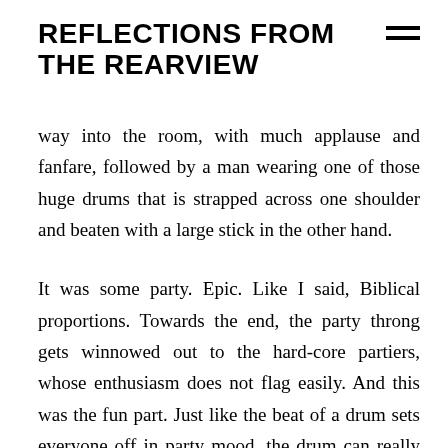REFLECTIONS FROM THE REARVIEW
way into the room, with much applause and fanfare, followed by a man wearing one of those huge drums that is strapped across one shoulder and beaten with a large stick in the other hand.
It was some party. Epic. Like I said, Biblical proportions. Towards the end, the party throng gets winnowed out to the hard-core partiers, whose enthusiasm does not flag easily. And this was the fun part. Just like the beat of a drum sets everyone off in party mood, the drum can really carry the day. It’s not just visual, where it goes, the party goes. At the very late end of the night a faithful few were still partying around that drum, strangers who were drunk and now best friends from all spectrums of age and culture. They had the drum on the